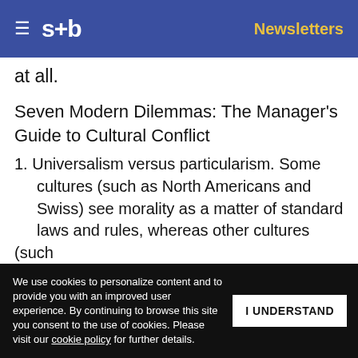≡  s+b    Newsletters
at all.
Seven Modern Dilemmas: The Manager's Guide to Cultural Conflict
1. Universalism versus particularism. Some cultures (such as North Americans and Swiss) see morality as a matter of standard laws and rules, whereas other cultures (such as ... Eastern ... variable
Get s+b's award-winning newsletter delivered to your inbox.
We use cookies to personalize content and to provide you with an improved user experience. By continuing to browse this site you consent to the use of cookies. Please visit our cookie policy for further details.